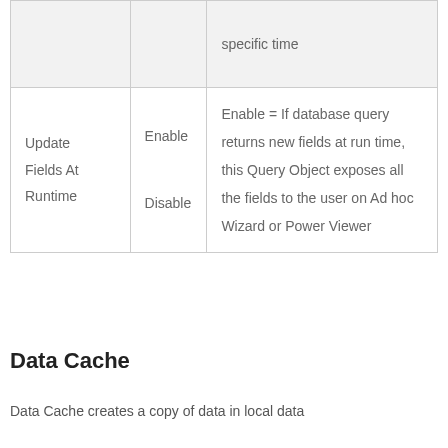|  |  |  |
| --- | --- | --- |
|  |  | specific time |
| Update Fields At Runtime | Enable
Disable | Enable = If database query returns new fields at run time, this Query Object exposes all the fields to the user on Ad hoc Wizard or Power Viewer |
Data Cache
Data Cache creates a copy of data in local data